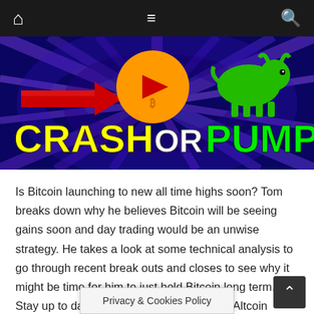Navigation bar with home, menu, and search icons
[Figure (screenshot): YouTube thumbnail image with text 'CRASH OR PUMP' in large yellow and green bold letters. Background is a blue/purple starfield with light rays. A red arrow points to a Bitcoin/YouTube logo icon in the center. A green bull graphic appears on the right.]
Is Bitcoin launching to new all time highs soon? Tom breaks down why he believes Bitcoin will be seeing gains soon and day trading would be an unwise strategy. He takes a look at some technical analysis to go through recent break outs and closes to see why it might be time for him to just hold Bitcoin long term. Stay up to date with your daily Bitcoin and Altcoin analysis from Josh and Tom at CryptoBusy. ➡ Bybit for Trading (Up to $4,100 FREE + 30% Fee Discount) ➡ https://partner.bybit.com/b/CryptoBusy ➡ Join VIP Coin Coin Calls Group to! ➡
Privacy & Cookies Policy